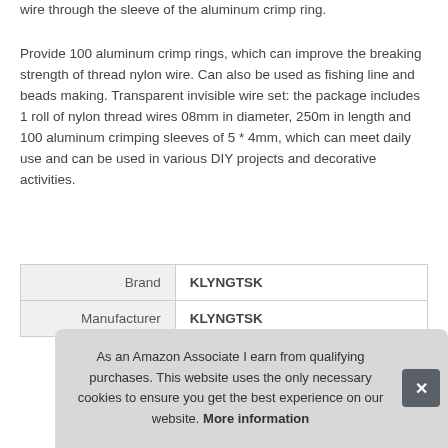wire through the sleeve of the aluminum crimp ring.
Provide 100 aluminum crimp rings, which can improve the breaking strength of thread nylon wire. Can also be used as fishing line and beads making. Transparent invisible wire set: the package includes 1 roll of nylon thread wires 08mm in diameter, 250m in length and 100 aluminum crimping sleeves of 5 * 4mm, which can meet daily use and can be used in various DIY projects and decorative activities.
|  |  |
| --- | --- |
| Brand | KLYNGTSK |
| Manufacturer | KLYNGTSK |
As an Amazon Associate I earn from qualifying purchases. This website uses the only necessary cookies to ensure you get the best experience on our website. More information